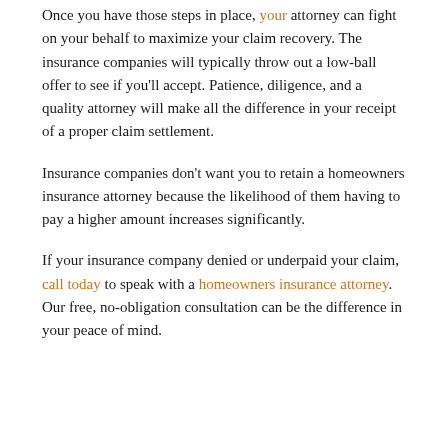Once you have those steps in place, your attorney can fight on your behalf to maximize your claim recovery. The insurance companies will typically throw out a low-ball offer to see if you'll accept. Patience, diligence, and a quality attorney will make all the difference in your receipt of a proper claim settlement.
Insurance companies don't want you to retain a homeowners insurance attorney because the likelihood of them having to pay a higher amount increases significantly.
If your insurance company denied or underpaid your claim, call today to speak with a homeowners insurance attorney. Our free, no-obligation consultation can be the difference in your peace of mind.